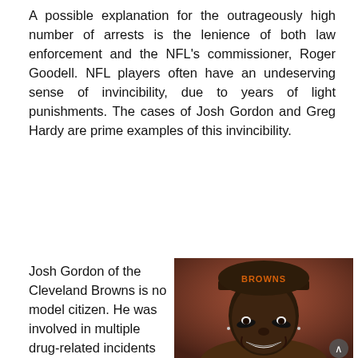A possible explanation for the outrageously high number of arrests is the lenience of both law enforcement and the NFL's commissioner, Roger Goodell. NFL players often have an undeserving sense of invincibility, due to years of light punishments. The cases of Josh Gordon and Greg Hardy are prime examples of this invincibility.
Josh Gordon of the Cleveland Browns is no model citizen. He was involved in multiple drug-related incidents as a star
[Figure (photo): Photo of Josh Gordon smiling and wearing a Cleveland Browns cap with orange BROWNS lettering on it, with eye black on his cheeks]